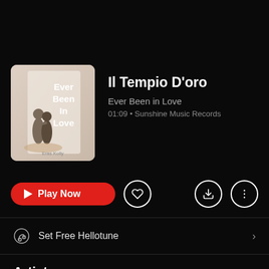[Figure (illustration): Album cover for 'Ever Been in Love' by Eras Kolly. Pink/beige background with a couple silhouette on the left and bold white text reading 'Ever Been In Love' on the right. Artist name 'Eras Kolly' at the bottom.]
Il Tempio D'oro
Ever Been in Love
01:09 • Sunshine Music Records
Play Now
Set Free Hellotune
Artists